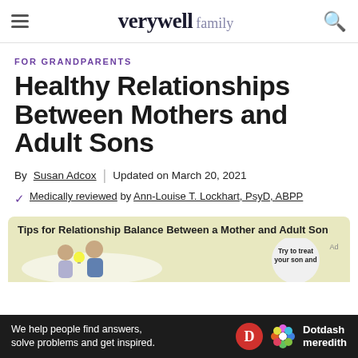verywell family
FOR GRANDPARENTS
Healthy Relationships Between Mothers and Adult Sons
By Susan Adcox | Updated on March 20, 2021
Medically reviewed by Ann-Louise T. Lockhart, PsyD, ABPP
[Figure (infographic): Infographic titled 'Tips for Relationship Balance Between a Mother and Adult Son' showing illustrated figures of a mother and son with a circular bubble saying 'Try to treat your son and']
We help people find answers, solve problems and get inspired. Dotdash meredith